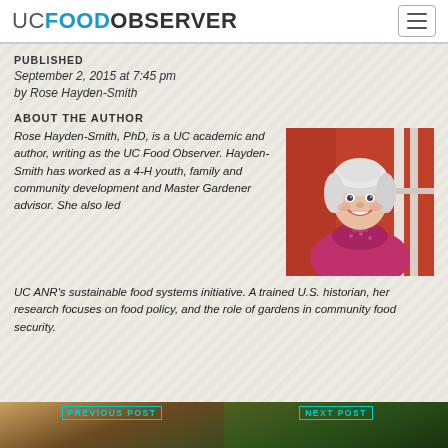UC FOOD OBSERVER
PUBLISHED
September 2, 2015 at 7:45 pm
by Rose Hayden-Smith
ABOUT THE AUTHOR
Rose Hayden-Smith, PhD, is a UC academic and author, writing as the UC Food Observer. Hayden-Smith has worked as a 4-H youth, family and community development and Master Gardener advisor. She also led UC ANR's sustainable food systems initiative. A trained U.S. historian, her research focuses on food policy, and the role of gardens in community food security.
[Figure (photo): Portrait photo of Rose Hayden-Smith, a woman with short white/silver hair, wearing a pink/magenta top and scarf, smiling, standing against a red wall with white window frames visible.]
PREVIOUS POST
NEXT POST